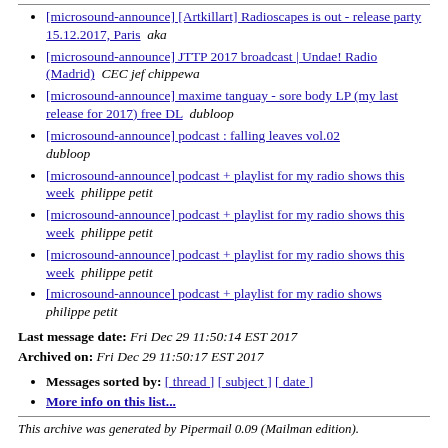[microsound-announce] [Artkillart] Radioscapes is out - release party 15.12.2017, Paris  aka
[microsound-announce] JTTP 2017 broadcast | Undae! Radio (Madrid)  CEC jef chippewa
[microsound-announce] maxime tanguay - sore body LP (my last release for 2017) free DL  dubloop
[microsound-announce] podcast : falling leaves vol.02  dubloop
[microsound-announce] podcast + playlist for my radio shows this week  philippe petit
[microsound-announce] podcast + playlist for my radio shows this week  philippe petit
[microsound-announce] podcast + playlist for my radio shows this week  philippe petit
[microsound-announce] podcast + playlist for my radio shows  philippe petit
Last message date: Fri Dec 29 11:50:14 EST 2017
Archived on: Fri Dec 29 11:50:17 EST 2017
Messages sorted by: [ thread ] [ subject ] [ date ]
More info on this list...
This archive was generated by Pipermail 0.09 (Mailman edition).